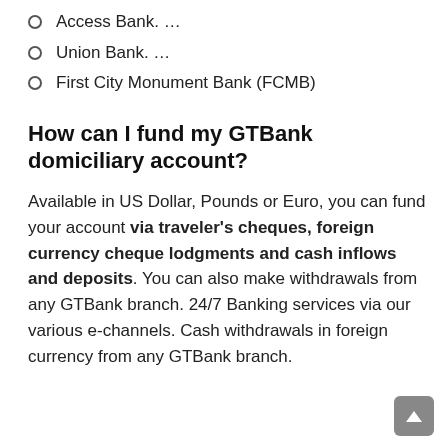Access Bank. …
Union Bank. …
First City Monument Bank (FCMB)
How can I fund my GTBank domiciliary account?
Available in US Dollar, Pounds or Euro, you can fund your account via traveler's cheques, foreign currency cheque lodgments and cash inflows and deposits. You can also make withdrawals from any GTBank branch. 24/7 Banking services via our various e-channels. Cash withdrawals in foreign currency from any GTBank branch.